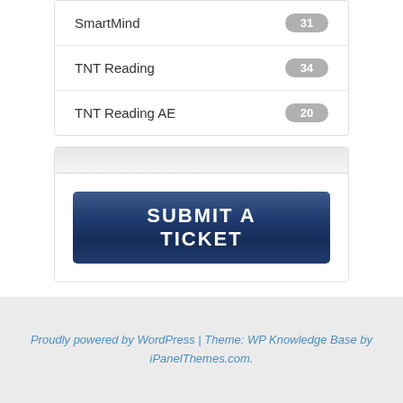SmartMind 31
TNT Reading 34
TNT Reading AE 20
[Figure (other): Submit a Ticket button - a dark navy blue rectangular button with white bold uppercase text reading SUBMIT A TICKET]
Proudly powered by WordPress | Theme: WP Knowledge Base by iPanelThemes.com.